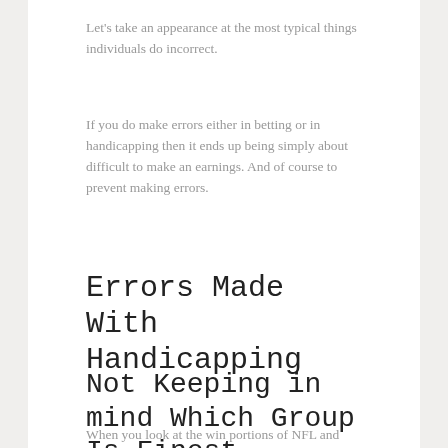Let's take an appearance at the most typical things individuals do incorrect.
If you do make errors either in betting or in handicapping then it ends up being simply about difficult to make an earnings. And of course to prevent making errors.
Errors Made With Handicapping
Not Keeping in mind Which Group Is Finest
When you look at the win portions of NFL and NBA, groups they are normally the same with the